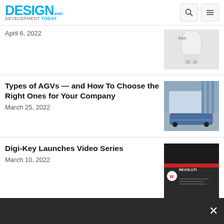DESIGN AND DEVELOPMENT TODAY
April 6, 2022
[Figure (photo): Partial image of an Asco robotic/automation device, white cylindrical component with 'Asco' branding visible]
Types of AGVs — and How To Choose the Right Ones for Your Company
March 25, 2022
[Figure (photo): AGV (Automated Guided Vehicle) in a warehouse/factory setting, carrying palletized goods on a blue vehicle]
Digi-Key Launches Video Series
March 10, 2022
[Figure (photo): Dark image showing Digi-Key video content with 'REVOLUTI' text visible and a building exterior]